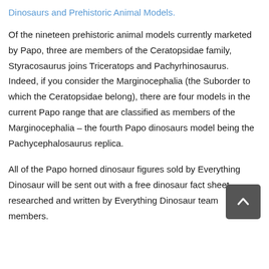Dinosaurs and Prehistoric Animal Models.
Of the nineteen prehistoric animal models currently marketed by Papo, three are members of the Ceratopsidae family, Styracosaurus joins Triceratops and Pachyrhinosaurus.  Indeed, if you consider the Marginocephalia (the Suborder to which the Ceratopsidae belong), there are four models in the current Papo range that are classified as members of the Marginocephalia – the fourth Papo dinosaurs model being the Pachycephalosaurus replica.
All of the Papo horned dinosaur figures sold by Everything Dinosaur will be sent out with a free dinosaur fact sheet researched and written by Everything Dinosaur team members.